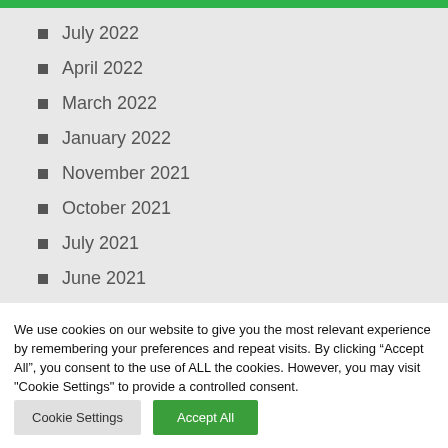July 2022
April 2022
March 2022
January 2022
November 2021
October 2021
July 2021
June 2021
We use cookies on our website to give you the most relevant experience by remembering your preferences and repeat visits. By clicking “Accept All”, you consent to the use of ALL the cookies. However, you may visit "Cookie Settings" to provide a controlled consent.
Cookie Settings
Accept All